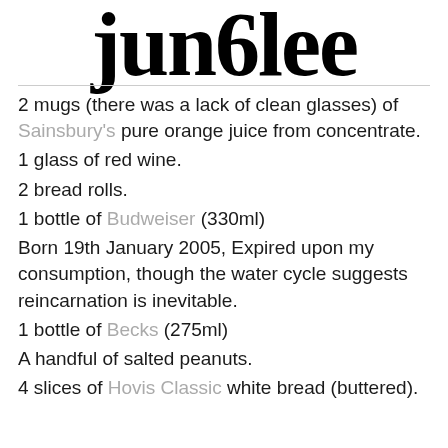jun6lee
2 mugs (there was a lack of clean glasses) of Sainsbury's pure orange juice from concentrate.
1 glass of red wine.
2 bread rolls.
1 bottle of Budweiser (330ml)
Born 19th January 2005, Expired upon my consumption, though the water cycle suggests reincarnation is inevitable.
1 bottle of Becks (275ml)
A handful of salted peanuts.
4 slices of Hovis Classic white bread (buttered).